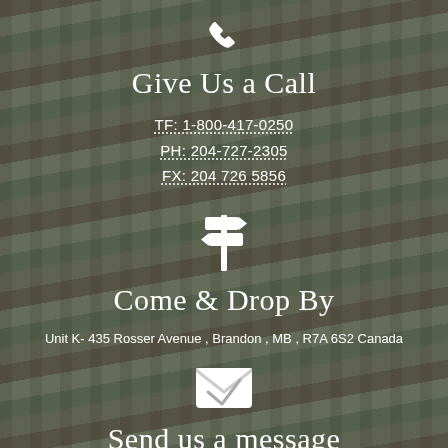[Figure (illustration): White phone icon]
Give Us a Call
TF: 1-800-417-0250
PH: 204-727-2305
FX: 204 726 5856
[Figure (illustration): White directional signpost icon]
Come & Drop By
Unit K- 435 Rosser Avenue , Brandon , MB , R7A 6S2 Canada
[Figure (illustration): White open envelope / mail icon]
Send us a message